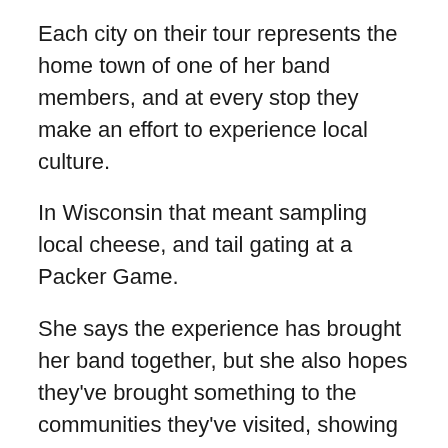Each city on their tour represents the home town of one of her band members, and at every stop they make an effort to experience local culture.
In Wisconsin that meant sampling local cheese, and tail gating at a Packer Game.
She says the experience has brought her band together, but she also hopes they've brought something to the communities they've visited, showing first hand that a career in the arts is attainable.
And that's what I want to share with my daughter. What she does with the information is up to her.
The tour is called “Go West” and promotes the album of the same name.